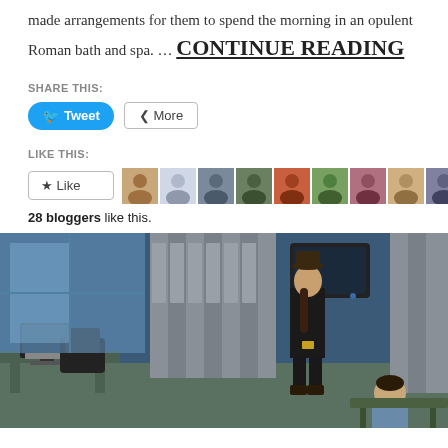made arrangements for them to spend the morning in an opulent Roman bath and spa. ... CONTINUE READING
SHARE THIS:
Tweet | More
LIKE THIS:
28 bloggers like this.
[Figure (screenshot): Video game screenshot (The Sims) showing two characters in a room with lockers and a desk. One character wears a cowboy hat and black outfit, the other is seated.]